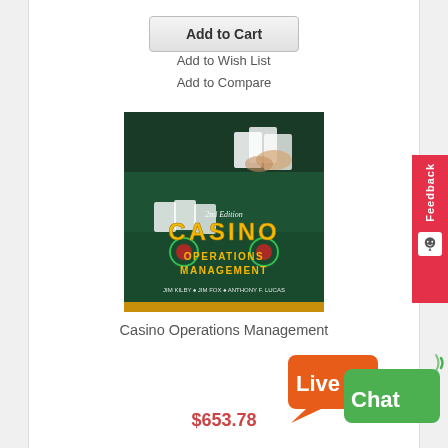Add to Cart
Add to Wish List
Add to Compare
[Figure (photo): Book cover of Casino Operations Management, 2nd Edition by Jim Kilby, Jim Fox, Anthony F. Lucas. Shows a casino card table with playing cards and a dealer's hands on a green felt table, with large gold illuminated text reading CASINO OPERATIONS MANAGEMENT.]
Casino Operations Management
$653.78